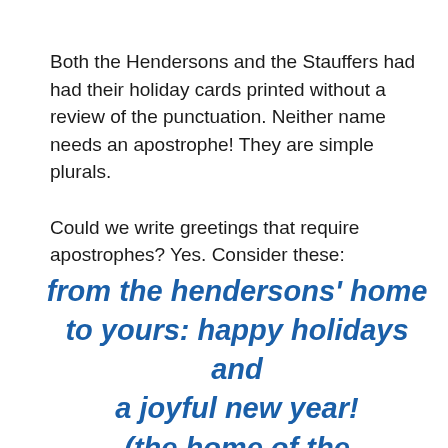Both the Hendersons and the Stauffers had had their holiday cards printed without a review of the punctuation. Neither name needs an apostrophe! They are simple plurals.
Could we write greetings that require apostrophes? Yes. Consider these:
from the hendersons' home to yours: happy holidays and a joyful new year! (the home of the hendersons